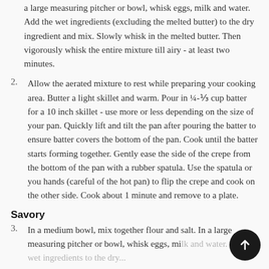a large measuring pitcher or bowl, whisk eggs, milk and water. Add the wet ingredients (excluding the melted butter) to the dry ingredient and mix. Slowly whisk in the melted butter. Then vigorously whisk the entire mixture till airy - at least two minutes.
2. Allow the aerated mixture to rest while preparing your cooking area. Butter a light skillet and warm. Pour in ¼-⅓ cup batter for a 10 inch skillet - use more or less depending on the size of your pan. Quickly lift and tilt the pan after pouring the batter to ensure batter covers the bottom of the pan. Cook until the batter starts forming together. Gently ease the side of the crepe from the bottom of the pan with a rubber spatula. Use the spatula or you hands (careful of the hot pan) to flip the crepe and cook on the other side. Cook about 1 minute and remove to a plate.
Savory
3. In a medium bowl, mix together flour and salt. In a large measuring pitcher or bowl, whisk eggs, milk and water. Add the wet ingredients to the dry...